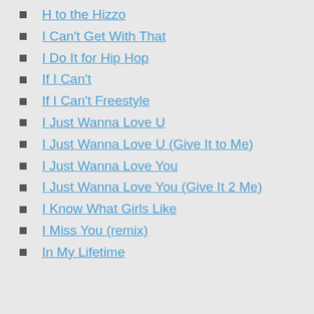H to the Hizzo
I Can't Get With That
I Do It for Hip Hop
If I Can't
If I Can't Freestyle
I Just Wanna Love U
I Just Wanna Love U (Give It to Me)
I Just Wanna Love You
I Just Wanna Love You (Give It 2 Me)
I Know What Girls Like
I Miss You (remix)
In My Lifetime